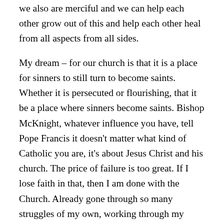we also are merciful and we can help each other grow out of this and help each other heal from all aspects from all sides.
My dream – for our church is that it is a place for sinners to still turn to become saints. Whether it is persecuted or flourishing, that it be a place where sinners become saints. Bishop McKnight, whatever influence you have, tell Pope Francis it doesn't matter what kind of Catholic you are, it's about Jesus Christ and his church. The price of failure is too great. If I lose faith in that, then I am done with the Church. Already gone through so many struggles of my own, working through my understanding of the hierarchy. I have two sons and a daughter – both of my sons have talked about the priesthood. If either of them are called to the priesthood, I just pray for the ability to support them.